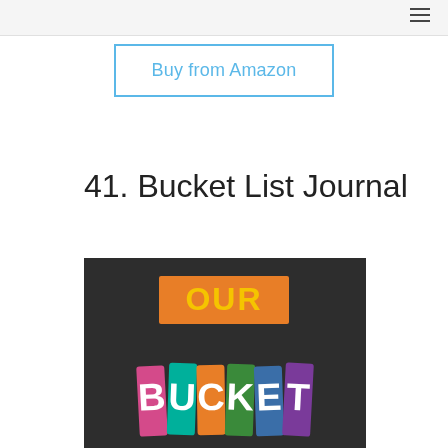Buy from Amazon
41. Bucket List Journal
[Figure (photo): Book cover of 'Our Bucket List Journal' showing colorful cut-out style letters spelling OUR on an orange background and BUCKET in multicolored letters on a dark background]